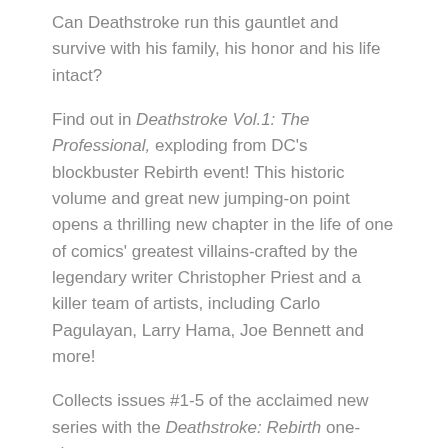Can Deathstroke run this gauntlet and survive with his family, his honor and his life intact?
Find out in Deathstroke Vol.1: The Professional, exploding from DC's blockbuster Rebirth event! This historic volume and great new jumping-on point opens a thrilling new chapter in the life of one of comics' greatest villains-crafted by the legendary writer Christopher Priest and a killer team of artists, including Carlo Pagulayan, Larry Hama, Joe Bennett and more!
Collects issues #1-5 of the acclaimed new series with the Deathstroke: Rebirth one-shot.
Out of stock
Categories: